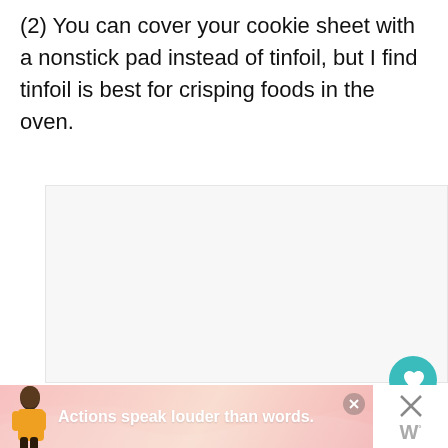(2) You can cover your cookie sheet with a nonstick pad instead of tinfoil, but I find tinfoil is best for crisping foods in the oven.
[Figure (photo): Image area placeholder with loading dots, a teal heart button, a share button, and a 'What's Next' card showing Blueberry Crumb Cake]
[Figure (infographic): Advertisement banner with pink/peach gradient background, a person figure on the left, bold white text reading 'Actions speak louder than words.' and close/W logo buttons on the right]